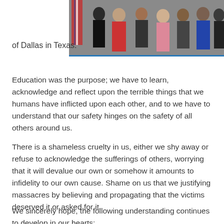[Figure (photo): Group of people standing in front of an American flag, photo cropped at top of page on right side]
of Dallas in Texas.
Education was the purpose; we have to learn, acknowledge and reflect upon the terrible things that we humans have inflicted upon each other, and to we have to understand that our safety hinges on the safety of all others around us.
There is a shameless cruelty in us, either we shy away or refuse to acknowledge the sufferings of others, worrying that it will devalue our own or somehow it amounts to infidelity to our own cause. Shame on us that we justifying massacres by believing and propagating that the victims deserved it or asked for it.
We sincerely hope, the following understanding continues to develop in our hearts;